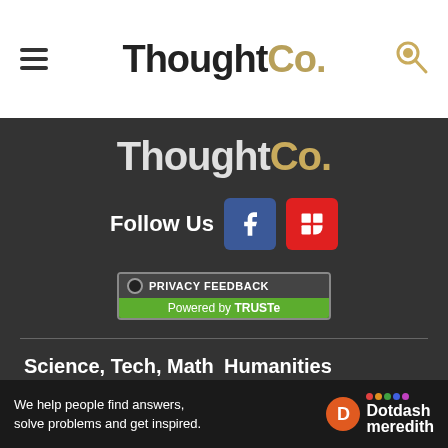ThoughtCo.
[Figure (logo): ThoughtCo. logo in white/gold on dark background]
Follow Us
[Figure (infographic): Facebook and Flipboard social media icon buttons]
[Figure (other): Privacy Feedback badge powered by TRUSTe]
Science, Tech, Math
Humanities
Languages
Resources
About Us
Advertise
Privacy Policy
Cookie Policy
We help people find answers, solve problems and get inspired. Dotdash meredith